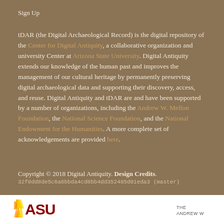Sign Up
tDAR (the Digital Archaeological Record) is the digital repository of the Center for Digital Antiquity, a collaborative organization and university Center at Arizona State University. Digital Antiquity extends our knowledge of the human past and improves the management of our cultural heritage by permanently preserving digital archaeological data and supporting their discovery, access, and reuse. Digital Antiquity and tDAR are and have been supported by a number of organizations, including the Andrew W. Mellon Foundation, the National Science Foundation, and the National Endowment for the Humanities. A more complete set of acknowledgements are provided here.
Copyright © 2018 Digital Antiquity. Design Credits.
32f0dd8de5c6a6bbda4cd8bb4dd352485d01eda3 (master)
[Figure (logo): ASU (Arizona State University) logo with stylized sunburst and block letters ASI in dark red, on white footer bar. Also partially visible: THE ANDREW W text for the Andrew W. Mellon Foundation logo.]